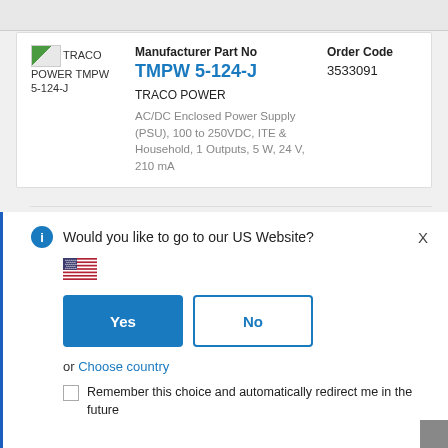[Figure (screenshot): TRACO POWER TMPW 5-124-J product listing with manufacturer part number, order code, brand, and description. Below is a dialog box asking 'Would you like to go to our US Website?' with Yes/No buttons and a country chooser.]